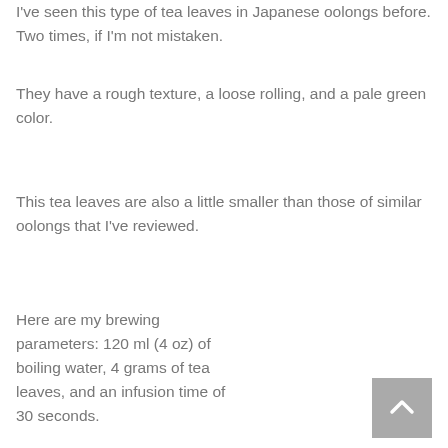I've seen this type of tea leaves in Japanese oolongs before. Two times, if I'm not mistaken.
They have a rough texture, a loose rolling, and a pale green color.
This tea leaves are also a little smaller than those of similar oolongs that I've reviewed.
Here are my brewing parameters: 120 ml (4 oz) of boiling water, 4 grams of tea leaves, and an infusion time of 30 seconds.